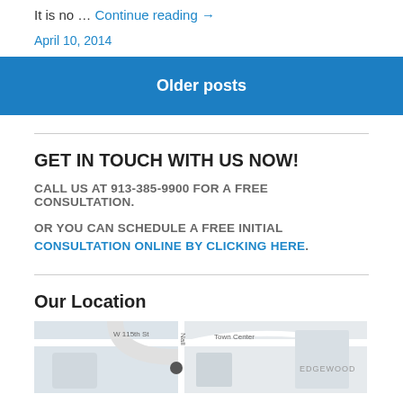It is no … Continue reading →
April 10, 2014
Older posts
GET IN TOUCH WITH US NOW!
CALL US AT 913-385-9900 FOR A FREE CONSULTATION.
OR YOU CAN SCHEDULE A FREE INITIAL CONSULTATION ONLINE BY CLICKING HERE.
Our Location
[Figure (map): Street map showing location near W 115th St, Town Center, and Edgewood area]